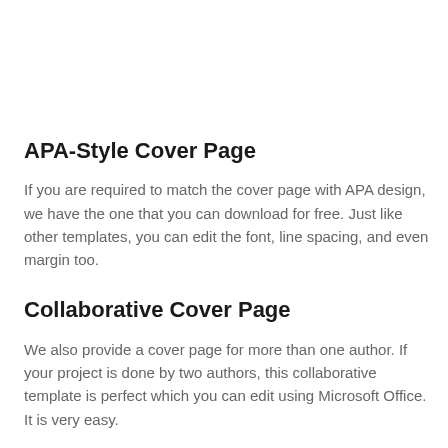APA-Style Cover Page
If you are required to match the cover page with APA design, we have the one that you can download for free. Just like other templates, you can edit the font, line spacing, and even margin too.
Collaborative Cover Page
We also provide a cover page for more than one author. If your project is done by two authors, this collaborative template is perfect which you can edit using Microsoft Office. It is very easy.
Book Background Cover Page